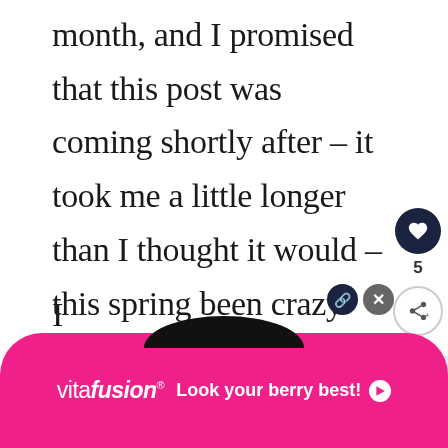month, and I promised that this post was coming shortly after – it took me a little longer than I thought it would – this spring been crazy busy, it seems like I'm never stopping! If you're busy like me, take a minute to yourself, grab a coffee, sit back and read – today is all about my spring coffee table decorating.
[Figure (infographic): Sidebar with heart icon (dark circle), number 5, and share icon]
[Figure (infographic): What's Next box showing '3 WAYS TO STYLE A...' with thumbnail image]
I was...
[Figure (infographic): Vitafusion advertisement banner: 'Look your berry best!' with pink rounded background and close buttons]